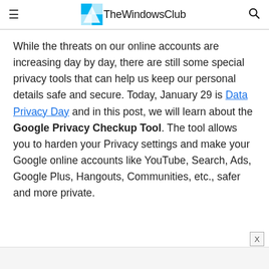TheWindowsClub
While the threats on our online accounts are increasing day by day, there are still some special privacy tools that can help us keep our personal details safe and secure. Today, January 29 is Data Privacy Day and in this post, we will learn about the Google Privacy Checkup Tool. The tool allows you to harden your Privacy settings and make your Google online accounts like YouTube, Search, Ads, Google Plus, Hangouts, Communities, etc., safer and more private.